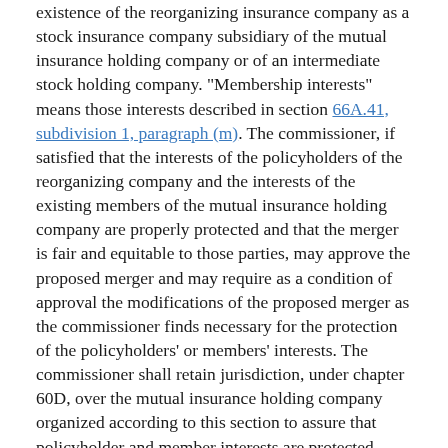existence of the reorganizing insurance company as a stock insurance company subsidiary of the mutual insurance holding company or of an intermediate stock holding company. "Membership interests" means those interests described in section 66A.41, subdivision 1, paragraph (m). The commissioner, if satisfied that the interests of the policyholders of the reorganizing company and the interests of the existing members of the mutual insurance holding company are properly protected and that the merger is fair and equitable to those parties, may approve the proposed merger and may require as a condition of approval the modifications of the proposed merger as the commissioner finds necessary for the protection of the policyholders' or members' interests. The commissioner shall retain jurisdiction, under chapter 60D, over the mutual insurance holding company organized according to this section to assure that policyholder and member interests are protected.
(b) All of the initial voting shares of the capital stock of the reorganized insurance company must be issued to the mutual insurance holding company, or to an intermediate stock holding company. The membership interests of the policyholders of the reorganized insurance company become membership interests in the mutual insurance holding